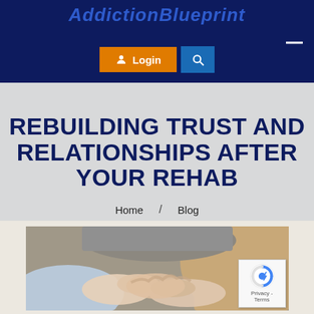AddictionBlueprint
[Figure (screenshot): Website header with Login button (orange) and Search button (blue) on dark navy background, with hamburger menu icon on the right]
REBUILDING TRUST AND RELATIONSHIPS AFTER YOUR REHAB
Home / Blog
[Figure (photo): Two people holding hands, one wearing a blue shirt and one in a tan/brown top, sitting on a couch — a supportive counseling or relationship scene]